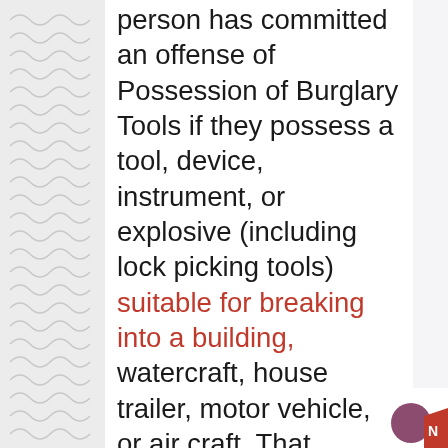person has committed an offense of Possession of Burglary Tools if they possess a tool, device, instrument, or explosive (including lock picking tools) suitable for breaking into a building, watercraft, house trailer, motor vehicle, or air craft. That person must also enter the property with the intent to commit a theft or felony. In most cases, Possession of Burglary Tools is considered